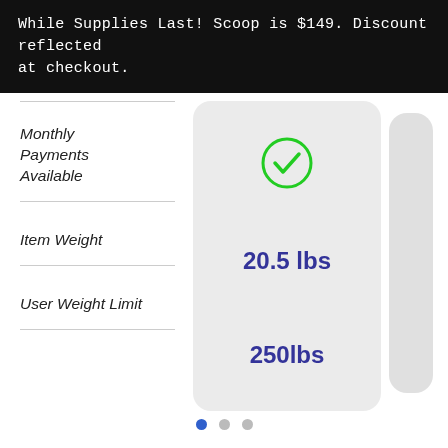While Supplies Last! Scoop is $149. Discount reflected at checkout.
Monthly Payments Available
Item Weight
20.5 lbs
User Weight Limit
250lbs